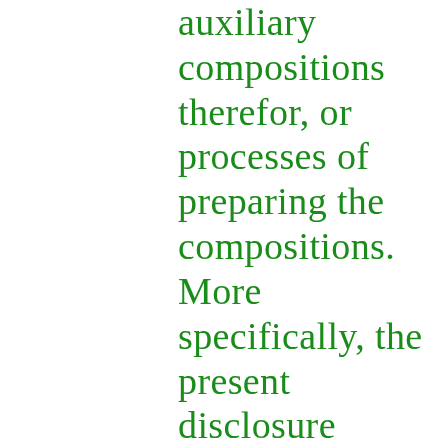auxiliary compositions therefor, or processes of preparing the compositions. More specifically, the present disclosure relates to a cleaning composition for facilitating